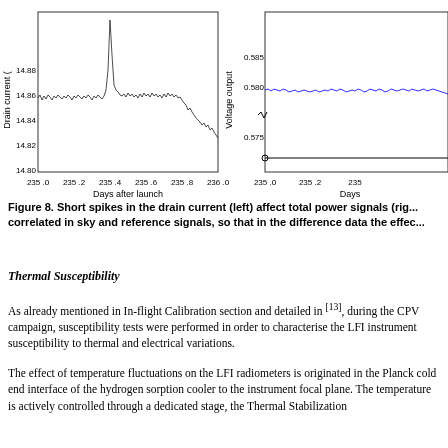[Figure (continuous-plot): Left: drain current (mA) vs days after launch, showing short spikes. Right (partial): voltage output vs days after launch.]
Figure 8. Short spikes in the drain current (left) affect total power signals (rig... correlated in sky and reference signals, so that in the difference data the effec...
Thermal Susceptibility
As already mentioned in In-flight Calibration section and detailed in [13], during the CPV campaign, susceptibility tests were performed in order to characterise the LFI instrument susceptibility to thermal and electrical variations.
The effect of temperature fluctuations on the LFI radiometers is originated in the Planck cold end interface of the hydrogen sorption cooler to the instrument focal plane. The temperature is actively controlled through a dedicated stage, the Thermal Stabilization